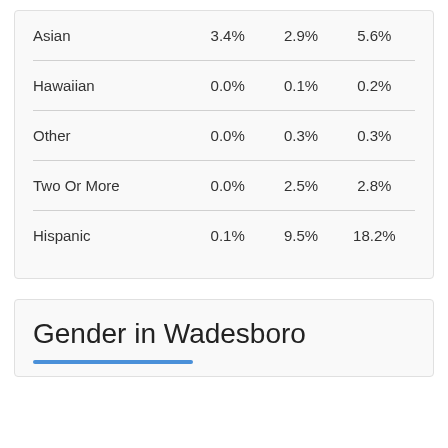|  |  |  |  |
| --- | --- | --- | --- |
| Asian | 3.4% | 2.9% | 5.6% |
| Hawaiian | 0.0% | 0.1% | 0.2% |
| Other | 0.0% | 0.3% | 0.3% |
| Two Or More | 0.0% | 2.5% | 2.8% |
| Hispanic | 0.1% | 9.5% | 18.2% |
Gender in Wadesboro